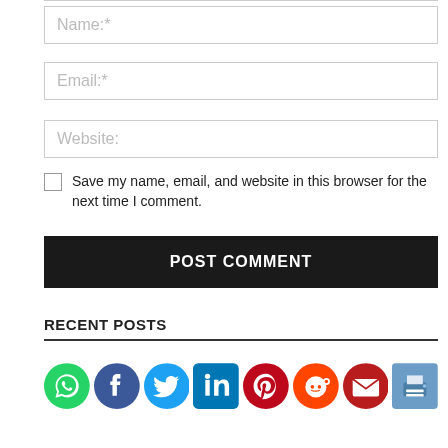Name:*
Email:*
Website:
Save my name, email, and website in this browser for the next time I comment.
POST COMMENT
RECENT POSTS
[Figure (infographic): Row of social media sharing icons: WhatsApp, Facebook, Twitter, LinkedIn, Pinterest, Reddit, Email, Print]